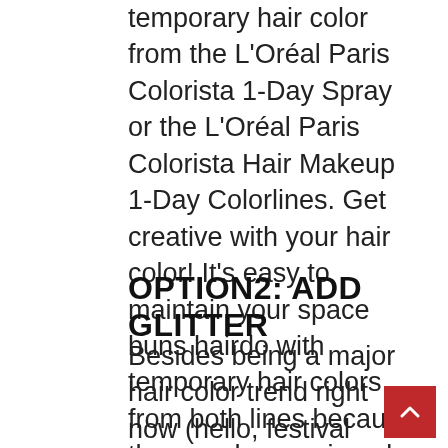temporary hair color from the L'Oréal Paris Colorista 1-Day Spray or the L'Oréal Paris Colorista Hair Makeup 1-Day Colorlines. Get creative with your hair color! It's easy to maintain your space buns hairdo with temporary hair colors from both lines because they wash away in only one shampoo. Instead of going full out with color, you may use the wash out hair color to highlight your roots only—this is one of our favorite festival season looks.
OPTION2: ADD GLITTER
Besides being a major hair color trend right now (hello, festival hair), glitter roots are also the perfect technique to help your space buns style seem like it came straight out of